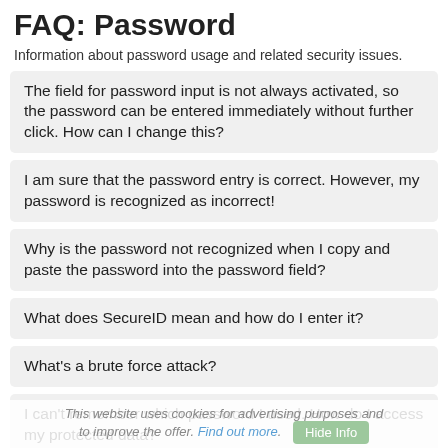FAQ: Password
Information about password usage and related security issues.
The field for password input is not always activated, so the password can be entered immediately without further click. How can I change this?
I am sure that the password entry is correct. However, my password is recognized as incorrect!
Why is the password not recognized when I copy and paste the password into the password field?
What does SecureID mean and how do I enter it?
What's a brute force attack?
I can't remember which password I used. How do I access my protected data?
What is a secure password and what is an insecure password?
This website uses cookies for advertising purposes and to improve the offer. Find out more.